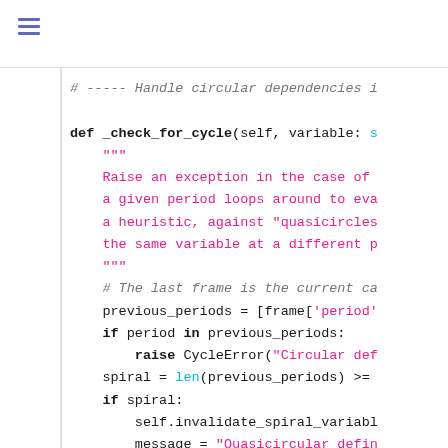hamburger menu icon
[Figure (screenshot): Python source code showing a _check_for_cycle method definition with docstring and implementation including cycle detection logic with raise CycleError and spiral/quasicircular handling.]